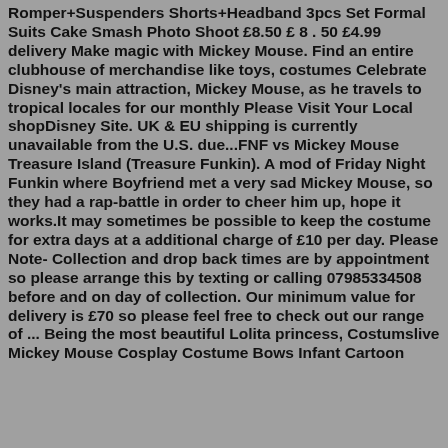Romper+Suspenders Shorts+Headband 3pcs Set Formal Suits Cake Smash Photo Shoot £8.50 £ 8 . 50 £4.99 delivery Make magic with Mickey Mouse. Find an entire clubhouse of merchandise like toys, costumes Celebrate Disney's main attraction, Mickey Mouse, as he travels to tropical locales for our monthly Please Visit Your Local shopDisney Site. UK & EU shipping is currently unavailable from the U.S. due...FNF vs Mickey Mouse Treasure Island (Treasure Funkin). A mod of Friday Night Funkin where Boyfriend met a very sad Mickey Mouse, so they had a rap-battle in order to cheer him up, hope it works.It may sometimes be possible to keep the costume for extra days at a additional charge of £10 per day. Please Note- Collection and drop back times are by appointment so please arrange this by texting or calling 07985334508 before and on day of collection. Our minimum value for delivery is £70 so please feel free to check out our range of ... Being the most beautiful Lolita princess, Costumslive Mickey Mouse Cosplay Costume Bows Infant Cartoon